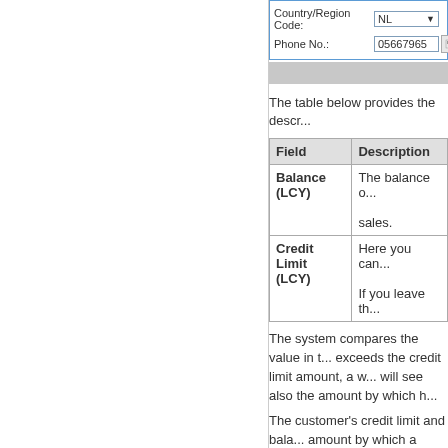[Figure (screenshot): UI form fields showing Country/Region Code (NL dropdown) and Phone No. (05667965 input) with a gray bar below]
The table below provides the descr...
| Field | Description |
| --- | --- |
| Balance (LCY) | The balance o... sales. |
| Credit Limit (LCY) | Here you can...
If you leave th... |
The system compares the value in t... exceeds the credit limit amount, a w... will see also the amount by which h...
The customer's credit limit and bala... amount by which a customer excee... customer.